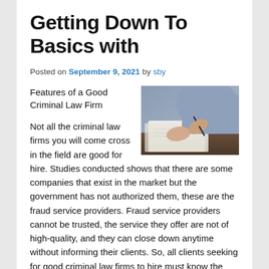Getting Down To Basics with
Posted on September 9, 2021 by sby
Features of a Good Criminal Law Firm
[Figure (photo): A person in a blue-grey shirt signing or writing on white papers at a wooden desk, holding a pen with both hands visible.]
Not all the criminal law firms you will come cross in the field are good for hire. Studies conducted shows that there are some companies that exist in the market but the government has not authorized them, these are the fraud service providers. Fraud service providers cannot be trusted, the service they offer are not of high-quality, and they can close down anytime without informing their clients. So, all clients seeking for good criminal law firms to hire must know the features of standard companies. The purpose of this article is to